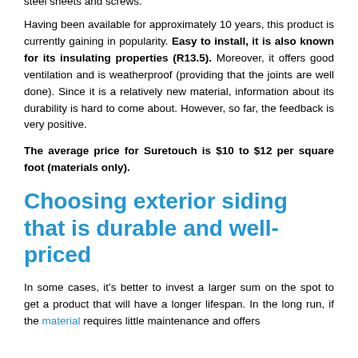steel sheets and screws.
Having been available for approximately 10 years, this product is currently gaining in popularity. Easy to install, it is also known for its insulating properties (R13.5). Moreover, it offers good ventilation and is weatherproof (providing that the joints are well done). Since it is a relatively new material, information about its durability is hard to come about. However, so far, the feedback is very positive.
The average price for Suretouch is $10 to $12 per square foot (materials only).
Choosing exterior siding that is durable and well-priced
In some cases, it's better to invest a larger sum on the spot to get a product that will have a longer lifespan. In the long run, if the material requires little maintenance and offers